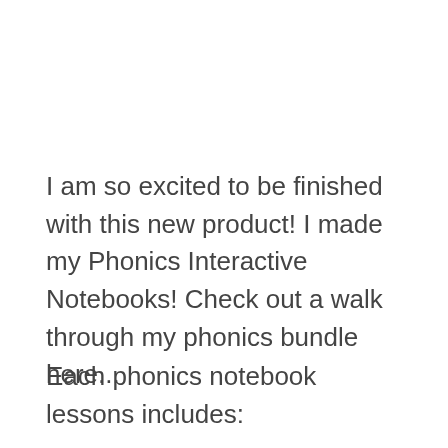I am so excited to be finished with this new product! I made my Phonics Interactive Notebooks! Check out a walk through my phonics bundle here...
Each phonics notebook lessons includes: